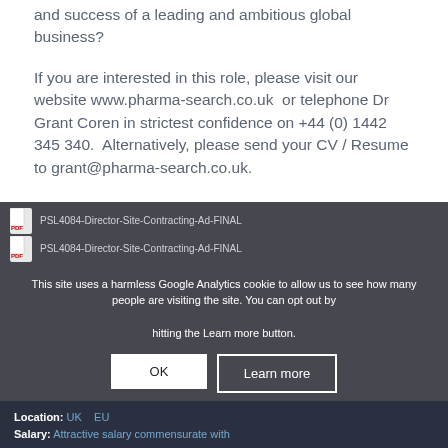and success of a leading and ambitious global business?
If you are interested in this role, please visit our website www.pharma-search.co.uk or telephone Dr Grant Coren in strictest confidence on +44 (0) 1442 345 340. Alternatively, please send your CV / Resume to grant@pharma-search.co.uk.
PSL4084-Director-Site-Contracting-Ad-FINAL
PSL4084-Director-Site-Contracting-Ad-FINAL
This site uses a harmless Google Analytics cookie to allow us to see how many people are visiting the site. You can opt out by hitting the Learn more button.
OK
Learn more
Location: UK   EU
Salary: Attractive salary commensurate with